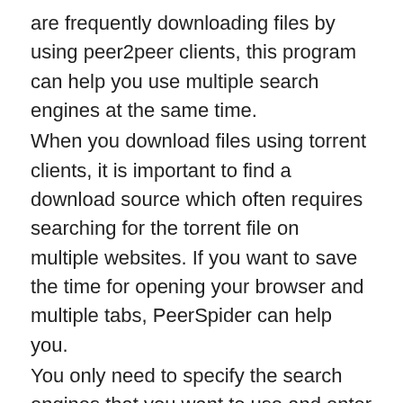are frequently downloading files by using peer2peer clients, this program can help you use multiple search engines at the same time.
When you download files using torrent clients, it is important to find a download source which often requires searching for the torrent file on multiple websites. If you want to save the time for opening your browser and multiple tabs, PeerSpider can help you.
You only need to specify the search engines that you want to use and enter the keyword in the main window. The results are displayed in separate tabs that are opened automatically for each search engine.
The application comes with a list of links to the popular search pages but also allows you to add, edit or remove the links that are not useful. You can personalize the list by changing the order of the search engines and editing the search parameters.